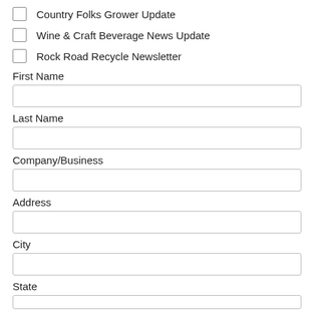Country Folks Grower Update
Wine & Craft Beverage News Update
Rock Road Recycle Newsletter
First Name
Last Name
Company/Business
Address
City
State